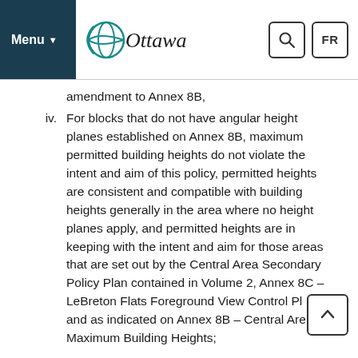Menu | Ottawa | Search | FR
amendment to Annex 8B,
iv. For blocks that do not have angular height planes established on Annex 8B, maximum permitted building heights do not violate the intent and aim of this policy, permitted heights are consistent and compatible with building heights generally in the area where no height planes apply, and permitted heights are in keeping with the intent and aim for those areas that are set out by the Central Area Secondary Policy Plan contained in Volume 2, Annex 8C – LeBreton Flats Foreground View Control Plan and as indicated on Annex 8B – Central Area Maximum Building Heights;